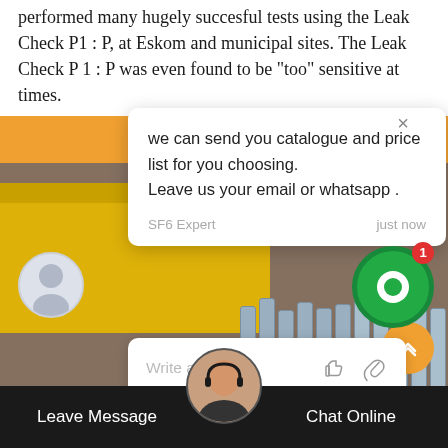performed many hugely succesful tests using the Leak Check P1 : P, at Eskom and municipal sites. The Leak Check P 1 : P was even found to be "too" sensitive at times.
[Figure (screenshot): Chat popup overlay on a webpage. Shows a chat message bubble with text: 'we can send you catalogue and price list for you choosing. Leave us your email or whatsapp .' with sender labeled 'SF6 Expert' and timestamp 'just now'. Below is a reply input box with placeholder 'Write a reply..' and thumb/paperclip icons. Background shows orange banner and photo of yellow truck with gas cylinders. Green chat button with badge '1' on right. Bottom bar with 'Leave Message' and 'Chat Online' options with support agent avatar.]